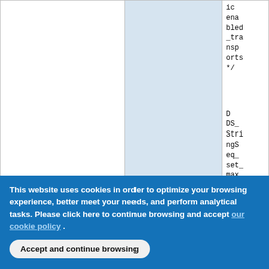|  |  | ic enabled_transports*/

DDS_StringSeq_set_maximum(&dp_qos.user_traffic.e… |
| --- | --- | --- |
|  |  | ic
ena
bled
_tra
nsp
orts
*/


D
DS_
Stri
ngS
eq_
set_
max
imu
m(&
dp_
qos.
user
_traf
fic.e… |
This website uses cookies in order to optimize your browsing experience, better meet your needs, and perform analytical tasks. Please click here to continue browsing and accept our cookie policy .
Accept and continue browsing